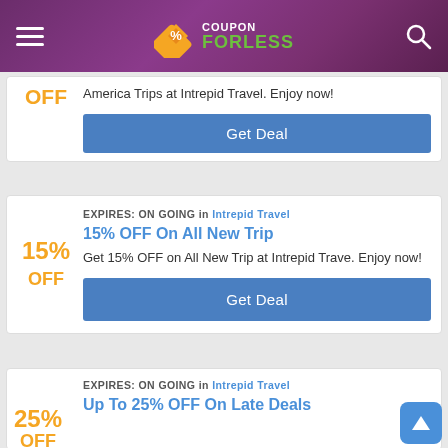Coupon ForLess
America Trips at Intrepid Travel. Enjoy now!
Get Deal
EXPIRES: ON GOING in Intrepid Travel
15% OFF On All New Trip
15% OFF
Get 15% OFF on All New Trip at Intrepid Trave. Enjoy now!
Get Deal
EXPIRES: ON GOING in Intrepid Travel
Up To 25% OFF On Late Deals
25% OFF
Save Up to 25% OFF on Last Minute Travel Deals and Tour Discounts at Intrepid Travel. Enjoy now!